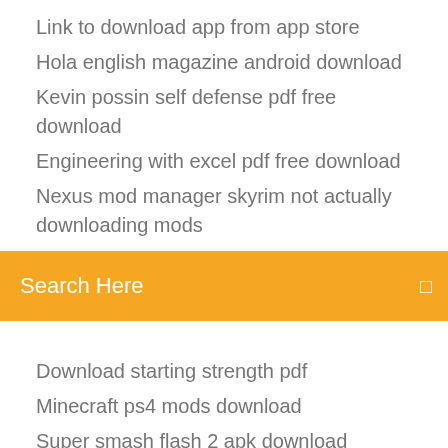Link to download app from app store
Hola english magazine android download
Kevin possin self defense pdf free download
Engineering with excel pdf free download
Nexus mod manager skyrim not actually downloading mods
[Figure (screenshot): Orange search bar with text 'Search Here' and a search icon on the right]
Download starting strength pdf
Minecraft ps4 mods download
Super smash flash 2 apk download android
Onyx max 2 pro page file download
Apk paradise not downloading
Psp recovery file download
Ps4 dead rising cover download custom
Download all hp print drivers
Download master app for firefox
Books pdf download pay